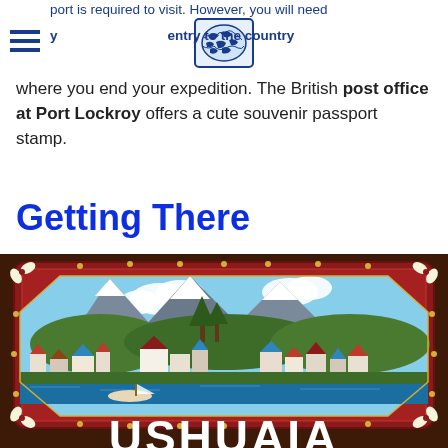port is required to visit. However, you will need your passport in order to gain entry to the country where you end your expedition.
where you end your expedition. The British post office at Port Lockroy offers a cute souvenir passport stamp.
Getting There
[Figure (photo): Decorative painted wooden sign or artwork featuring an ornate dark red frame with floral and leaf motifs. Inside is a painting of a scenic coastal town with snow-capped mountains in the background, green hills, colonial-style buildings, and blue water in the foreground with a small boat. Partially visible large white letters at the bottom spell out USHUAIA.]